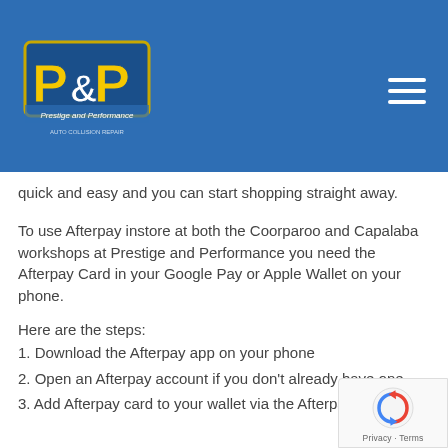[Figure (logo): P&P Prestige and Performance logo on blue header background with hamburger menu icon]
quick and easy and you can start shopping straight away.
To use Afterpay instore at both the Coorparoo and Capalaba workshops at Prestige and Performance you need the Afterpay Card in your Google Pay or Apple Wallet on your phone.
Here are the steps:
1. Download the Afterpay app on your phone
2. Open an Afterpay account if you don't already have one
3. Add Afterpay card to your wallet via the Afterpay app